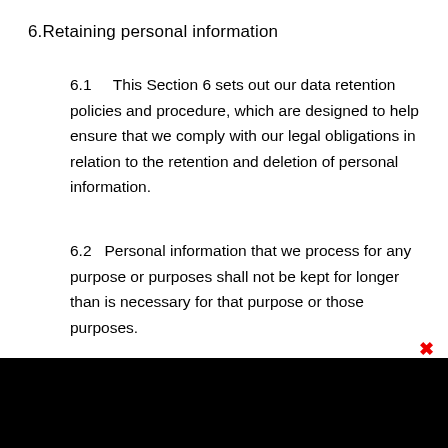6.Retaining personal information
6.1    This Section 6 sets out our data retention policies and procedure, which are designed to help ensure that we comply with our legal obligations in relation to the retention and deletion of personal information.
6.2   Personal information that we process for any purpose or purposes shall not be kept for longer than is necessary for that purpose or those purposes.